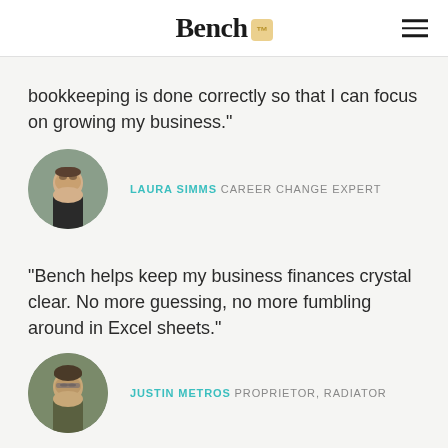Bench
bookkeeping is done correctly so that I can focus on growing my business."
LAURA SIMMS CAREER CHANGE EXPERT
"Bench helps keep my business finances crystal clear. No more guessing, no more fumbling around in Excel sheets."
JUSTIN METROS PROPRIETOR, RADIATOR